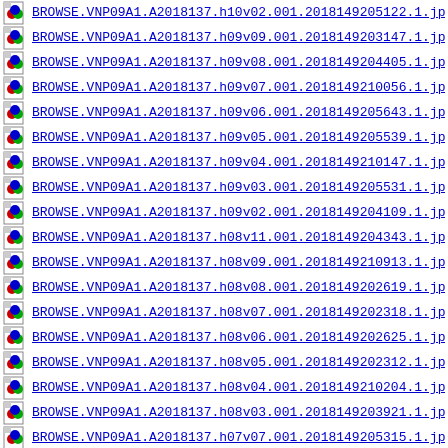BROWSE.VNP09A1.A2018137.h10v02.001.2018149205122.1.jp
BROWSE.VNP09A1.A2018137.h09v09.001.2018149203147.1.jp
BROWSE.VNP09A1.A2018137.h09v08.001.2018149204405.1.jp
BROWSE.VNP09A1.A2018137.h09v07.001.2018149210056.1.jp
BROWSE.VNP09A1.A2018137.h09v06.001.2018149205643.1.jp
BROWSE.VNP09A1.A2018137.h09v05.001.2018149205539.1.jp
BROWSE.VNP09A1.A2018137.h09v04.001.2018149210147.1.jp
BROWSE.VNP09A1.A2018137.h09v03.001.2018149205531.1.jp
BROWSE.VNP09A1.A2018137.h09v02.001.2018149204109.1.jp
BROWSE.VNP09A1.A2018137.h08v11.001.2018149204343.1.jp
BROWSE.VNP09A1.A2018137.h08v09.001.2018149210913.1.jp
BROWSE.VNP09A1.A2018137.h08v08.001.2018149202619.1.jp
BROWSE.VNP09A1.A2018137.h08v07.001.2018149202318.1.jp
BROWSE.VNP09A1.A2018137.h08v06.001.2018149202625.1.jp
BROWSE.VNP09A1.A2018137.h08v05.001.2018149202312.1.jp
BROWSE.VNP09A1.A2018137.h08v04.001.2018149210204.1.jp
BROWSE.VNP09A1.A2018137.h08v03.001.2018149203921.1.jp
BROWSE.VNP09A1.A2018137.h07v07.001.2018149205315.1.jp